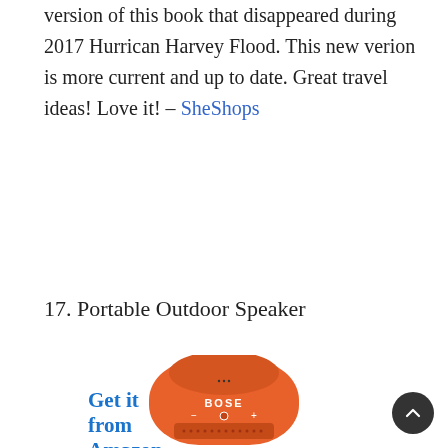version of this book that disappeared during 2017 Hurrican Harvey Flood. This new verion is more current and up to date. Great travel ideas! Love it! – SheShops
Get it from Amazon
17. Portable Outdoor Speaker
[Figure (photo): Orange Bose SoundLink Micro portable Bluetooth speaker]